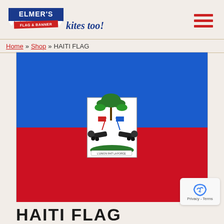[Figure (logo): Elmer's Flag & Banner kites too! logo with blue pennant shape and red ribbon banner]
Home » Shop » HAITI FLAG
[Figure (illustration): Haiti national flag with blue top half, red bottom half, and white rectangle in center containing the national coat of arms]
HAITI FLAG